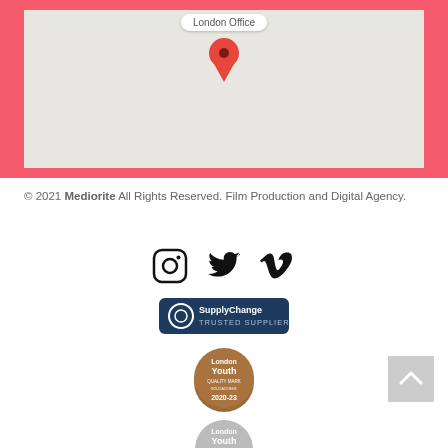[Figure (map): Google Maps style map showing London Office location with a red location pin and a tooltip label reading 'London Office', surrounded by a coral/red border]
© 2021 Mediorite All Rights Reserved. Film Production and Digital Agency.
[Figure (infographic): Three social media icons: Instagram, Twitter, and Vimeo in black]
[Figure (logo): SupplyChange Trusted Supplier badge - dark blue rounded rectangle with circular logo and text 'SupplyChange TRUSTED SUPPLIER']
[Figure (logo): London Youth Quality Mark badge - bronze/brown circular badge with text 'London Youth QUALITY MARK 2020-23']
[Figure (logo): London Youth Quality Mark badge - grey/silver circular badge with text 'London Youth QUALITY MARK 2021-24']